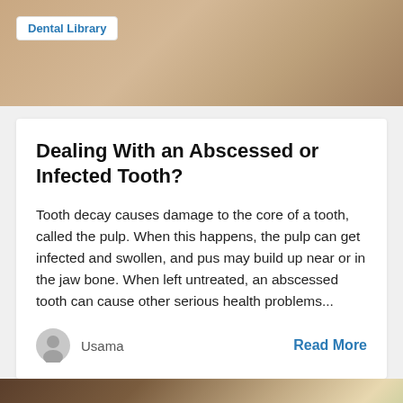[Figure (photo): Top banner photo showing a blurred wooden surface, warm beige/tan tones]
Dental Library
Dealing With an Abscessed or Infected Tooth?
Tooth decay causes damage to the core of a tooth, called the pulp. When this happens, the pulp can get infected and swollen, and pus may build up near or in the jaw bone. When left untreated, an abscessed tooth can cause other serious health problems...
Usama
Read More
[Figure (photo): Bottom partial image showing hands holding a dental instrument, bokeh background]